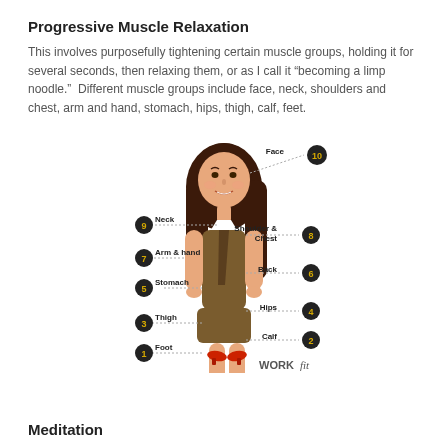Progressive Muscle Relaxation
This involves purposefully tightening certain muscle groups, holding it for several seconds, then relaxing them, or as I call it “becoming a limp noodle.”  Different muscle groups include face, neck, shoulders and chest, arm and hand, stomach, hips, thigh, calf, feet.
[Figure (illustration): A cartoon illustration of a woman with labeled muscle groups numbered 1-10: Foot (1), Calf (2), Thigh (3), Hips (4), Stomach (5), Back (6), Arm & hand (7), Shoulder & Chest (8), Neck (9), Face (10). Each label is connected to the figure with a dotted line and has a dark circle with a yellow number. WORKfit logo at bottom right.]
Meditation